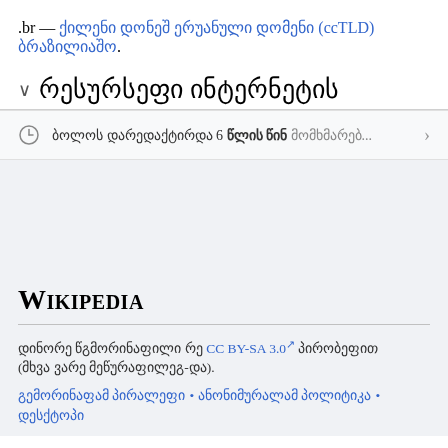.br — ქილენი დონეშ ერუანუলი დომენი (ccTLD) ბრაზილიაშო.
რესურსეფი ინტერნეტის
ბოლოს დარედაქტირდა 6 წლის წინ მომხმარებ...
[Figure (logo): Wikipedia logo text in serif font with small-caps styling]
დინორე წგმორინაფილი რე CC BY-SA 3.0 პირობეფით (მხვა ვარე მეწურაფილეგ-და).
გემორინაფამ პირალეფი • ანონიმურალამ პოლიტიკა • დესქტოპი